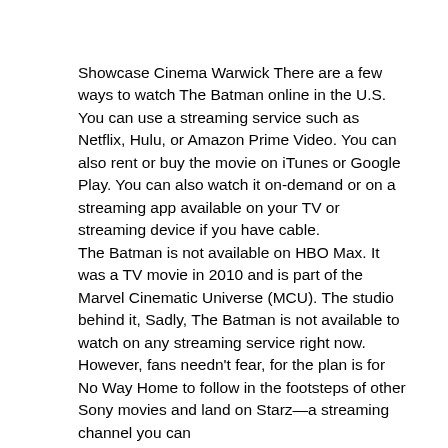Showcase Cinema Warwick There are a few ways to watch The Batman online in the U.S. You can use a streaming service such as Netflix, Hulu, or Amazon Prime Video. You can also rent or buy the movie on iTunes or Google Play. You can also watch it on-demand or on a streaming app available on your TV or streaming device if you have cable.
The Batman is not available on HBO Max. It was a TV movie in 2010 and is part of the Marvel Cinematic Universe (MCU). The studio behind it, Sadly, The Batman is not available to watch on any streaming service right now. However, fans needn't fear, for the plan is for No Way Home to follow in the footsteps of other Sony movies and land on Starz—a streaming channel you can subscribe to through Amazon Prime Video.